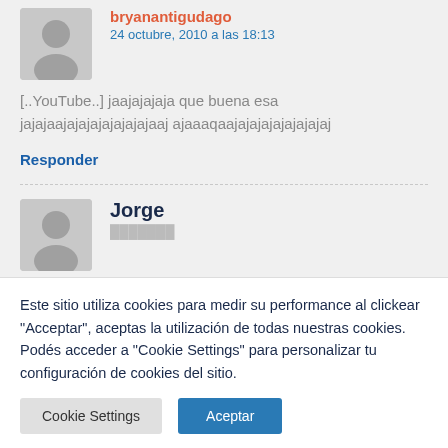bryanantigudago
24 octubre, 2010 a las 18:13
[..YouTube..] jaajajajaja que buena esa jajajaajajajajajajajajaaj ajaaaqaajajajajajajajajaj
Responder
Jorge
Este sitio utiliza cookies para medir su performance al clickear "Acceptar", aceptas la utilización de todas nuestras cookies. Podés acceder a "Cookie Settings" para personalizar tu configuración de cookies del sitio.
Cookie Settings
Aceptar